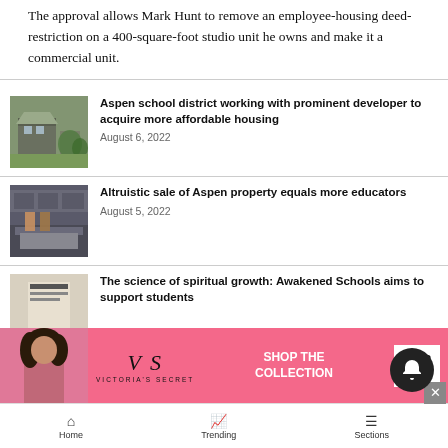The approval allows Mark Hunt to remove an employee-housing deed-restriction on a 400-square-foot studio unit he owns and make it a commercial unit.
Aspen school district working with prominent developer to acquire more affordable housing — August 6, 2022
Altruistic sale of Aspen property equals more educators — August 5, 2022
The science of spiritual growth: Awakened Schools aims to support students
[Figure (infographic): Victoria's Secret advertisement banner with pink background, model photo, VS logo, SHOP THE COLLECTION text, and SHOP NOW button]
Home   Trending   Sections